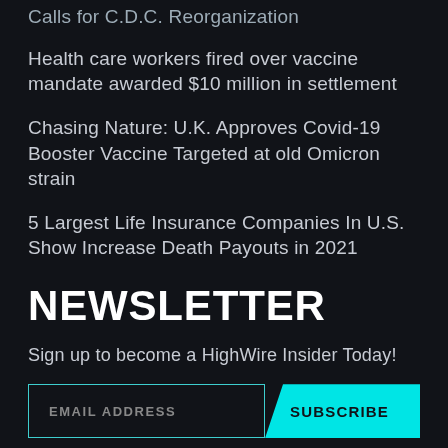Calls for C.D.C. Reorganization
Health care workers fired over vaccine mandate awarded $10 million in settlement
Chasing Nature: U.K. Approves Covid-19 Booster Vaccine Targeted at old Omicron strain
5 Largest Life Insurance Companies In U.S. Show Increase Death Payouts in 2021
NEWSLETTER
Sign up to become a HighWire Insider Today!
EMAIL ADDRESS    SUBSCRIBE